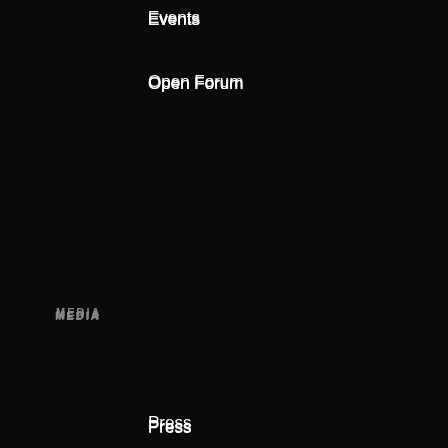Events
Open Forum
MEDIA
Press
Subscribe to our press releases
Pictures
MORE FROM THE FORUM
Strategic Intelligence
UpLink
Global Shapers